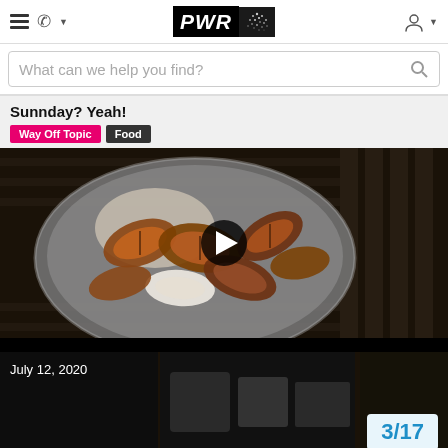PWR — navigation header with hamburger menu, phone icon, logo, and user account icon
What can we help you find?
Sunnday? Yeah!
Way Off Topic  Food
[Figure (photo): Video thumbnail showing sliced mushrooms being cooked in a metal bowl over a grill, with a play button overlay. Below is a black video control bar.]
July 12, 2020
3/17